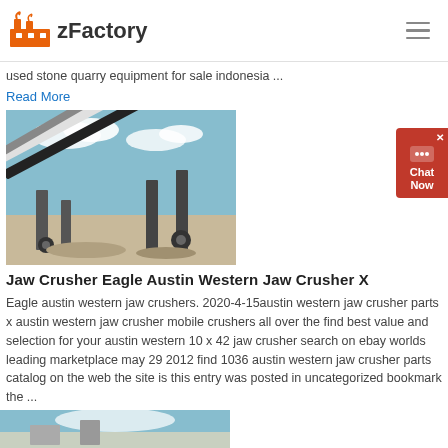zFactory
used stone quarry equipment for sale indonesia ...
Read More
[Figure (photo): Industrial jaw crusher / screening machine equipment on a job site with blue sky background]
Jaw Crusher Eagle Austin Western Jaw Crusher X
Eagle austin western jaw crushers. 2020-4-15austin western jaw crusher parts x austin western jaw crusher mobile crushers all over the find best value and selection for your austin western 10 x 42 jaw crusher search on ebay worlds leading marketplace may 29 2012 find 1036 austin western jaw crusher parts catalog on the web the site is this entry was posted in uncategorized bookmark the ...
Read More
[Figure (photo): Partial bottom image of industrial equipment (partially visible)]